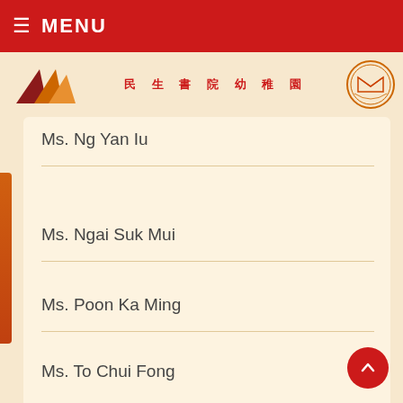☰ MENU
[Figure (logo): 民生書院幼稚園 school logo with geometric shapes and emblem]
Ms. Ng Yan Iu
Ms. Ngai Suk Mui
Ms. Poon Ka Ming
Ms. To Chui Fong